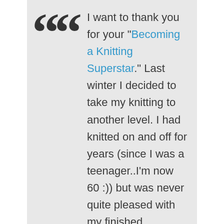I want to thank you for your "Becoming a Knitting Superstar." Last winter I decided to take my knitting to another level. I had knitted on and off for years (since I was a teenager..I'm now 60 :)) but was never quite pleased with my finished